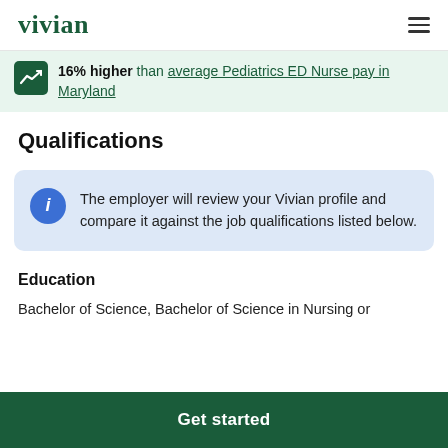vivian
16% higher than average Pediatrics ED Nurse pay in Maryland
Qualifications
The employer will review your Vivian profile and compare it against the job qualifications listed below.
Education
Bachelor of Science, Bachelor of Science in Nursing or
Get started